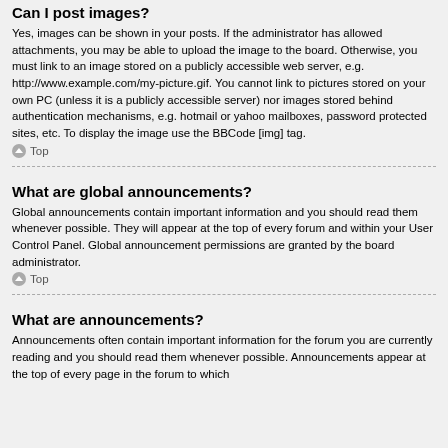Can I post images?
Yes, images can be shown in your posts. If the administrator has allowed attachments, you may be able to upload the image to the board. Otherwise, you must link to an image stored on a publicly accessible web server, e.g. http://www.example.com/my-picture.gif. You cannot link to pictures stored on your own PC (unless it is a publicly accessible server) nor images stored behind authentication mechanisms, e.g. hotmail or yahoo mailboxes, password protected sites, etc. To display the image use the BBCode [img] tag.
Top
What are global announcements?
Global announcements contain important information and you should read them whenever possible. They will appear at the top of every forum and within your User Control Panel. Global announcement permissions are granted by the board administrator.
Top
What are announcements?
Announcements often contain important information for the forum you are currently reading and you should read them whenever possible. Announcements appear at the top of every page in the forum to which